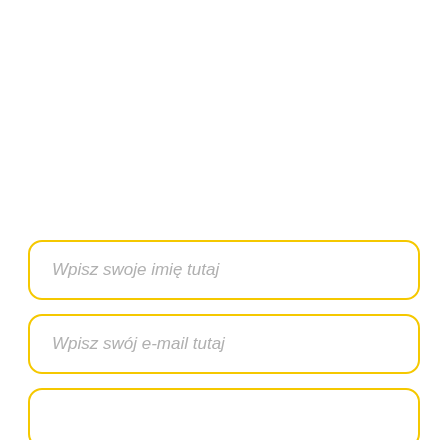Wpisz swoje imię tutaj
Wpisz swój e-mail tutaj